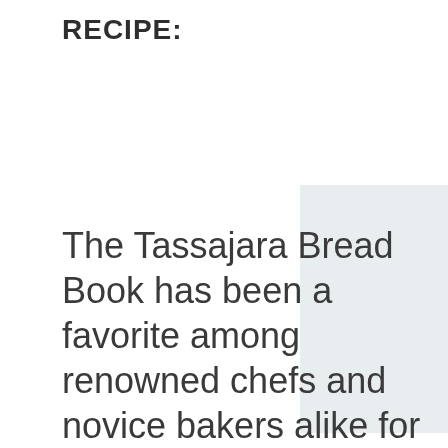RECIPE:
[Figure (other): A light gray rectangular panel with a hamburger menu icon (three horizontal blue lines) in the center-right area of the page.]
The Tassajara Bread Book has been a favorite among renowned chefs and novice bakers alike for